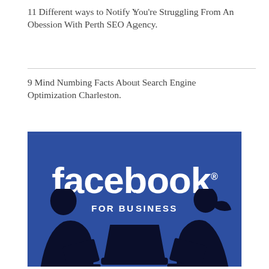11 Different ways to Notify You’re Struggling From An Obession With Perth SEO Agency.
9 Mind Numbing Facts About Search Engine Optimization Charleston.
[Figure (photo): Facebook for Business promotional image with blue background, large white Facebook logo and wordmark, 'FOR BUSINESS' text below, and silhouettes of two people using laptops on either side.]